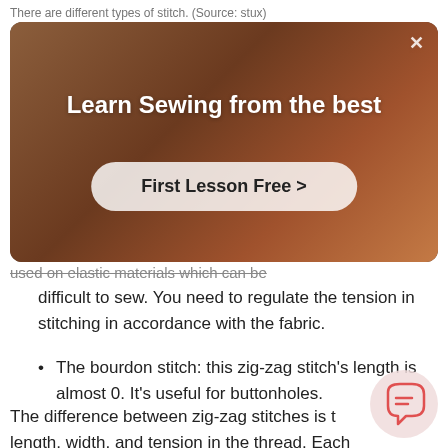There are different types of stitch. (Source: stux)
[Figure (screenshot): Advertisement overlay showing a person sewing with text 'Learn Sewing from the best' and a 'First Lesson Free >' button. A close (X) button appears in the top right corner.]
used on elastic materials which can be difficult to sew. You need to regulate the tension in stitching in accordance with the fabric.
The bourdon stitch: this zig-zag stitch's length is almost 0. It's useful for buttonholes.
The difference between zig-zag stitches is the length, width, and tension in the thread. Each stitch